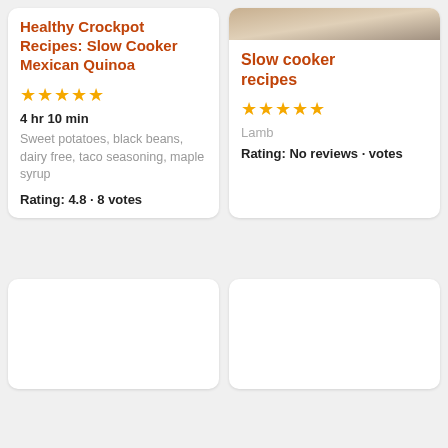Healthy Crockpot Recipes: Slow Cooker Mexican Quinoa
★★★★★
4 hr 10 min
Sweet potatoes, black beans, dairy free, taco seasoning, maple syrup
Rating: 4.8 · 8 votes
[Figure (photo): Food photo at top of right card showing cooked dish]
Slow cooker recipes
★★★★★
Lamb
Rating: No reviews · votes